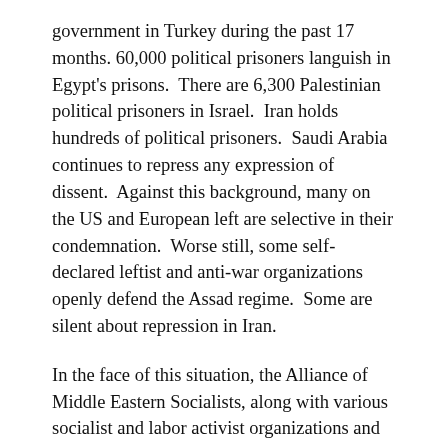government in Turkey during the past 17 months. 60,000 political prisoners languish in Egypt's prisons.  There are 6,300 Palestinian political prisoners in Israel.  Iran holds hundreds of political prisoners.  Saudi Arabia continues to repress any expression of dissent.  Against this background, many on the US and European left are selective in their condemnation.  Worse still, some self-declared leftist and anti-war organizations openly defend the Assad regime.  Some are silent about repression in Iran.
In the face of this situation, the Alliance of Middle Eastern Socialists, along with various socialist and labor activist organizations and individuals have initiated a new campaign in solidarity with Middle Eastern political prisoners.
The aim of this campaign is four-fold: 1 To shine a